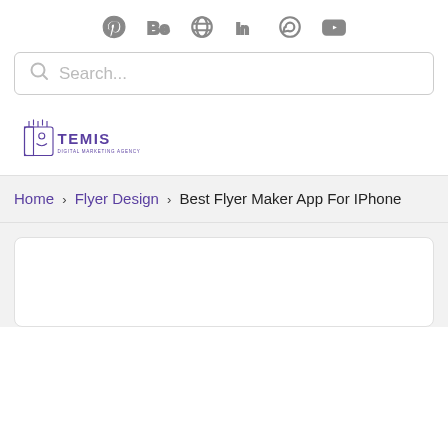[Figure (other): Social media icon bar with Pinterest, Behance, Dribbble, LinkedIn, WhatsApp, YouTube icons]
[Figure (other): Search bar with magnifying glass icon and placeholder text 'Search...']
[Figure (logo): Temis Digital Marketing Agency logo — purple illustrated face icon with TEMIS text]
Home > Flyer Design > Best Flyer Maker App For IPhone
[Figure (other): White content card area (article content area, partially visible)]